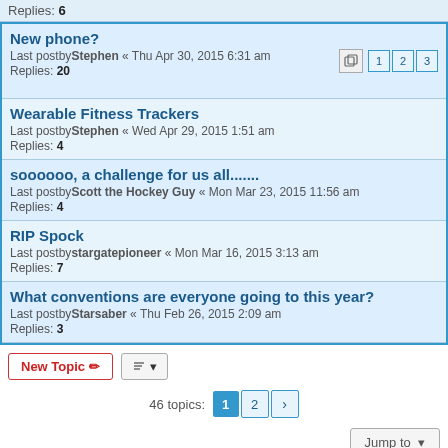Replies: 6
New phone?
Last postby Stephen « Thu Apr 30, 2015 6:31 am
Replies: 20
Wearable Fitness Trackers
Last postby Stephen « Wed Apr 29, 2015 1:51 am
Replies: 4
soooooo, a challenge for us all.......
Last postby Scott the Hockey Guy « Mon Mar 23, 2015 11:56 am
Replies: 4
RIP Spock
Last postby stargatepioneer « Mon Mar 16, 2015 3:13 am
Replies: 7
What conventions are everyone going to this year?
Last postby Starsaber « Thu Feb 26, 2015 2:09 am
Replies: 3
New Topic  [sort]  46 topics: 1 2 >
Jump to
FORUM PERMISSIONS
You cannot post new topics in this forum
You cannot reply to topics in this forum
You cannot edit your posts in this forum